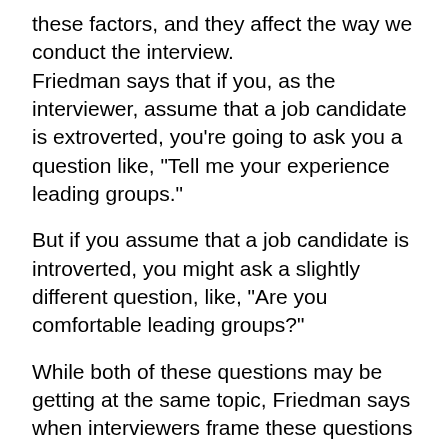these factors, and they affect the way we conduct the interview.
Friedman says that if you, as the interviewer, assume that a job candidate is extroverted, you're going to ask you a question like, "Tell me your experience leading groups."
But if you assume that a job candidate is introverted, you might ask a slightly different question, like, "Are you comfortable leading groups?"
While both of these questions may be getting at the same topic, Friedman says when interviewers frame these questions differently due to their assumptions about a job candidate, it leads that person to answer in a way that confirms your (the interviewer's) initial impression or bias, which may be dead wrong.
The Solution: Job